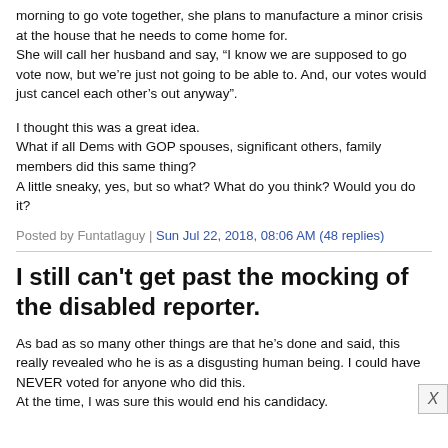morning to go vote together, she plans to manufacture a minor crisis at the house that he needs to come home for.
She will call her husband and say, “I know we are supposed to go vote now, but we’re just not going to be able to. And, our votes would just cancel each other’s out anyway”.

I thought this was a great idea.
What if all Dems with GOP spouses, significant others, family members did this same thing?
A little sneaky, yes, but so what? What do you think? Would you do it?
Posted by Funtatlaguy | Sun Jul 22, 2018, 08:06 AM (48 replies)
I still can't get past the mocking of the disabled reporter.
As bad as so many other things are that he’s done and said, this really revealed who he is as a disgusting human being. I could have NEVER voted for anyone who did this.
At the time, I was sure this would end his candidacy.